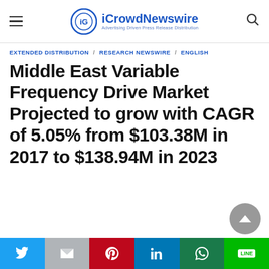iCrowdNewswire — Advertising Driven Press Release Distribution
EXTENDED DISTRIBUTION / RESEARCH NEWSWIRE / ENGLISH
Middle East Variable Frequency Drive Market Projected to grow with CAGR of 5.05% from $103.38M in 2017 to $138.94M in 2023